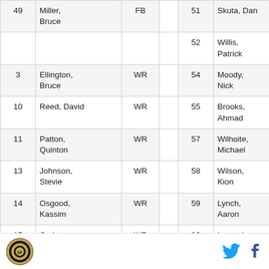| # | Name | Pos |  | # | Name | Pos |  |
| --- | --- | --- | --- | --- | --- | --- | --- |
| 49 | Miller, Bruce | FB |  | 51 | Skuta, Dan | LB |  |
|  |  |  |  | 52 | Willis, Patrick | LB |  |
| 3 | Ellington, Bruce | WR |  | 54 | Moody, Nick | LB |  |
| 10 | Reed, David | WR |  | 55 | Brooks, Ahmad | LB |  |
| 11 | Patton, Quinton | WR |  | 57 | Wilhoite, Michael | LB |  |
| 13 | Johnson, Stevie | WR |  | 58 | Wilson, Kion | LB |  |
| 14 | Osgood, Kassim | WR |  | 59 | Lynch, Aaron | LB |  |
| 15 | Crabtree, Michael | WR |  | 96 | Lemonier, Corey | LB |  |
[Figure (logo): San Francisco 49ers logo circle - gold and black emblem]